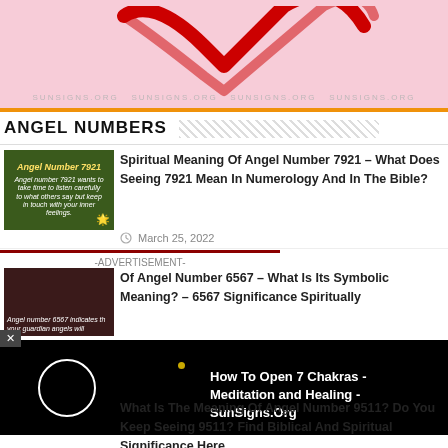[Figure (illustration): Pink banner with a red hand-drawn heart/checkmark shape and watermark text sunsigns.org]
ANGEL NUMBERS
[Figure (photo): Thumbnail for Angel Number 7921 article - green background with italic text]
Spiritual Meaning Of Angel Number 7921 – What Does Seeing 7921 Mean In Numerology And In The Bible?
March 25, 2022
-ADVERTISEMENT-
[Figure (photo): Thumbnail for Angel Number 6567 article - dark background with italic text]
Of Angel Number 6567 – What Is Its Symbolic Meaning? – 6567 Significance Spiritually
[Figure (screenshot): Video player overlay on dark background showing circle icon and dot, titled How To Open 7 Chakras - Meditation and Healing - SunSigns.Org]
What Is The Meaning Of Angel Number 9511? Do You Keep Seeing 9511? Find Biblical And Spiritual Significance Here